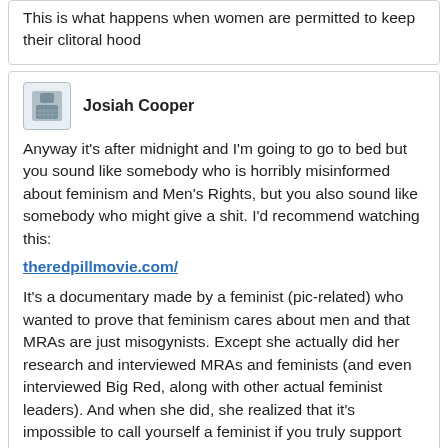This is what happens when women are permitted to keep their clitoral hood
Josiah Cooper
Anyway it's after midnight and I'm going to go to bed but you sound like somebody who is horribly misinformed about feminism and Men's Rights, but you also sound like somebody who might give a shit. I'd recommend watching this:
theredpillmovie.com/
It's a documentary made by a feminist (pic-related) who wanted to prove that feminism cares about men and that MRAs are just misogynists. Except she actually did her research and interviewed MRAs and feminists (and even interviewed Big Red, along with other actual feminist leaders). And when she did, she realized that it's impossible to call yourself a feminist if you truly support gender equality.